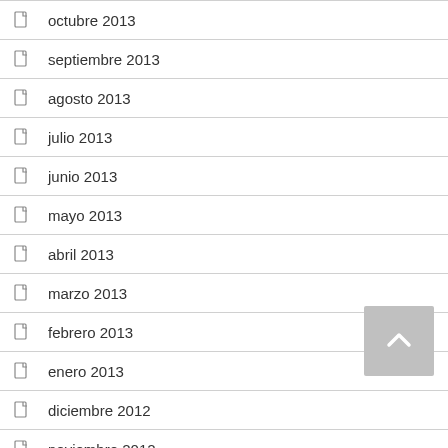octubre 2013
septiembre 2013
agosto 2013
julio 2013
junio 2013
mayo 2013
abril 2013
marzo 2013
febrero 2013
enero 2013
diciembre 2012
noviembre 2012
octubre 2012